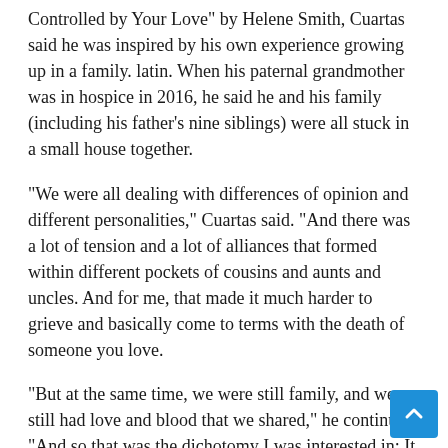Controlled by Your Love" by Helene Smith, Cuartas said he was inspired by his own experience growing up in a family. latin. When his paternal grandmother was in hospice in 2016, he said he and his family (including his father’s nine siblings) were all stuck in a small house together.
“We were all dealing with differences of opinion and different personalities,” Cuartas said. “And there was a lot of tension and a lot of alliances that formed within different pockets of cousins and aunts and uncles. And for me, that made it much harder to grieve and basically come to terms with the death of someone you love.
“But at the same time, we were still family, and we still had love and blood that we shared,” he continued. “And so that was the dichotomy I was interested in: It was the tension, but also the love.”
(Courtesy of Jonathan Cuartas) Jessie leans in a hotel room door in “My Heart Can’t Beat Unless You Tell It.” This scene was